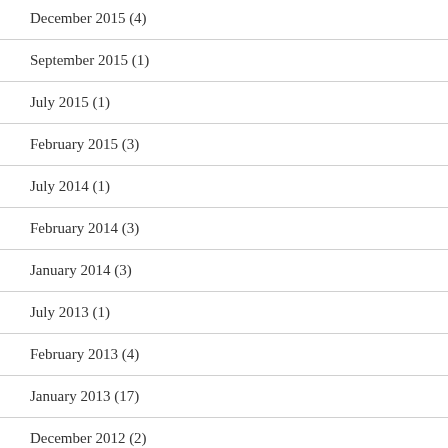December 2015 (4)
September 2015 (1)
July 2015 (1)
February 2015 (3)
July 2014 (1)
February 2014 (3)
January 2014 (3)
July 2013 (1)
February 2013 (4)
January 2013 (17)
December 2012 (2)